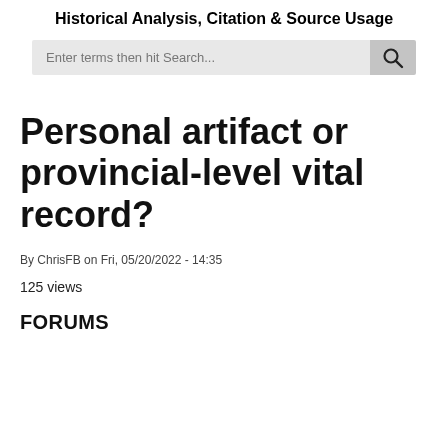Historical Analysis, Citation & Source Usage
[Figure (other): Search bar with placeholder text 'Enter terms then hit Search...' and a magnifying glass icon button on the right]
Personal artifact or provincial-level vital record?
By ChrisFB on Fri, 05/20/2022 - 14:35
125 views
FORUMS